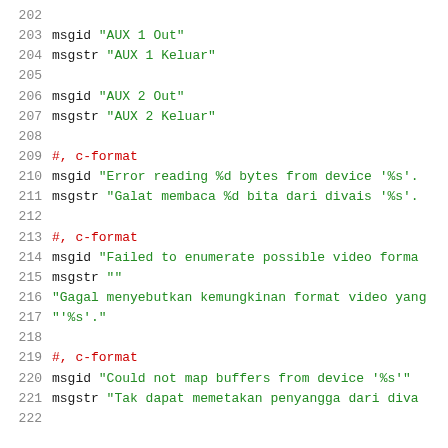202
203   msgid "AUX 1 Out"
204   msgstr "AUX 1 Keluar"
205
206   msgid "AUX 2 Out"
207   msgstr "AUX 2 Keluar"
208
209   #, c-format
210   msgid "Error reading %d bytes from device '%s'.
211   msgstr "Galat membaca %d bita dari divais '%s'.
212
213   #, c-format
214   msgid "Failed to enumerate possible video forma
215   msgstr ""
216   "Gagal menyebutkan kemungkinan format video yang
217   "'%s'."
218
219   #, c-format
220   msgid "Could not map buffers from device '%s'"
221   msgstr "Tak dapat memetakan penyangga dari diva
222